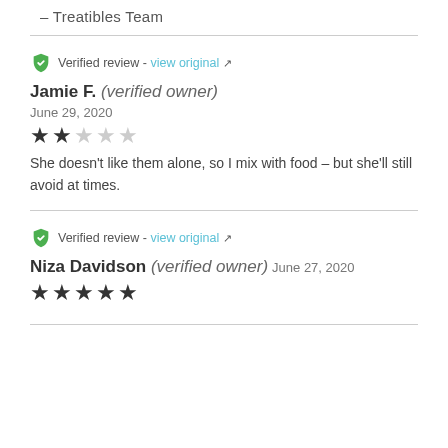– Treatibles Team
Verified review - view original
Jamie F. (verified owner) June 29, 2020
★★☆☆☆ (2 out of 5 stars)
She doesn't like them alone, so I mix with food – but she'll still avoid at times.
Verified review - view original
Niza Davidson (verified owner) June 27, 2020
★★★★★ (5 out of 5 stars)